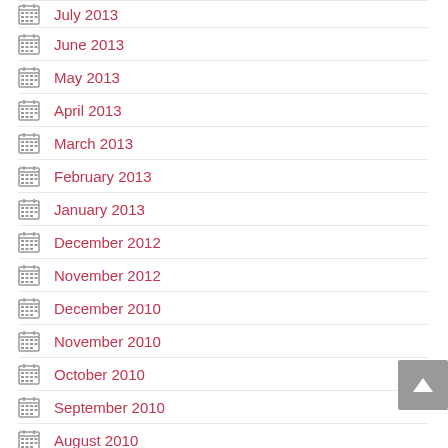July 2013
June 2013
May 2013
April 2013
March 2013
February 2013
January 2013
December 2012
November 2012
December 2010
November 2010
October 2010
September 2010
August 2010
July 2010
June 2010
May 2010